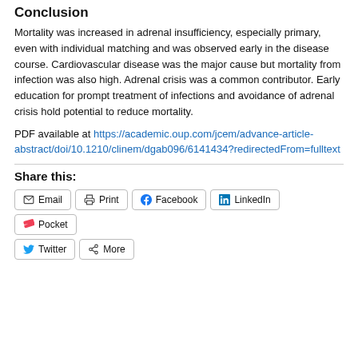Conclusion
Mortality was increased in adrenal insufficiency, especially primary, even with individual matching and was observed early in the disease course. Cardiovascular disease was the major cause but mortality from infection was also high. Adrenal crisis was a common contributor. Early education for prompt treatment of infections and avoidance of adrenal crisis hold potential to reduce mortality.
PDF available at https://academic.oup.com/jcem/advance-article-abstract/doi/10.1210/clinem/dgab096/6141434?redirectedFrom=fulltext
Share this:
Email
Print
Facebook
LinkedIn
Pocket
Twitter
More